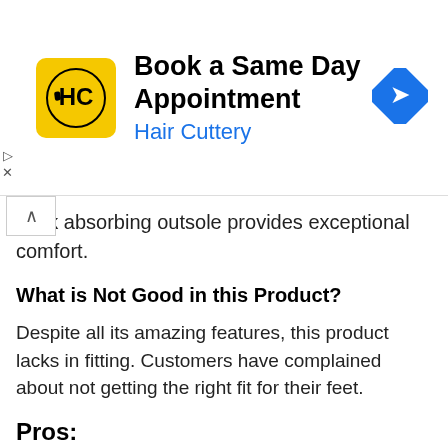[Figure (infographic): Hair Cuttery advertisement banner: Book a Same Day Appointment with HC logo and navigation arrow icon]
Shock absorbing outsole provides exceptional comfort.
What is Not Good in this Product?
Despite all its amazing features, this product lacks in fitting. Customers have complained about not getting the right fit for their feet.
Pros:
Highly Durable
Very comfortable
Flexible